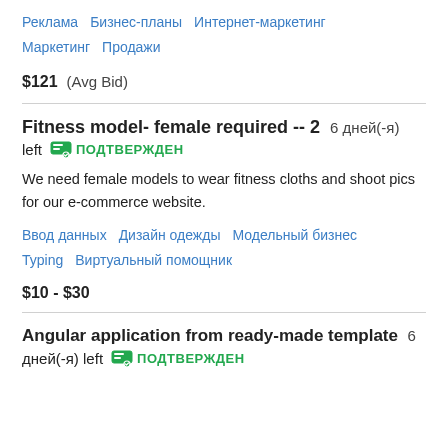Реклама   Бизнес-планы   Интернет-маркетинг   Маркетинг   Продажи
$121  (Avg Bid)
Fitness model- female required -- 2  6 дней(-я) left  ПОДТВЕРЖДЕН
We need female models to wear fitness cloths and shoot pics for our e-commerce website.
Ввод данных   Дизайн одежды   Модельный бизнес   Typing   Виртуальный помощник
$10 - $30
Angular application from ready-made template  6 дней(-я) left  ПОДТВЕРЖДЕН